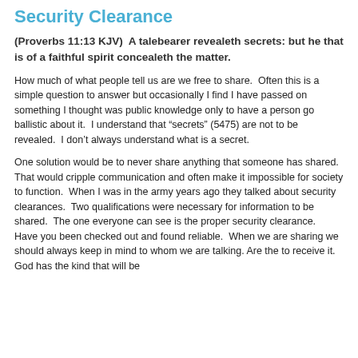Security Clearance
(Proverbs 11:13 KJV)  A talebearer revealeth secrets: but he that is of a faithful spirit concealeth the matter.
How much of what people tell us are we free to share.  Often this is a simple question to answer but occasionally I find I have passed on something I thought was public knowledge only to have a person go ballistic about it.  I understand that “secrets” (5475) are not to be revealed.  I don’t always understand what is a secret.
One solution would be to never share anything that someone has shared.  That would cripple communication and often make it impossible for society to function.  When I was in the army years ago they talked about security clearances.  Two qualifications were necessary for information to be shared.  The one everyone can see is the proper security clearance.  Have you been checked out and found reliable.  When we are sharing we should always keep in mind to whom we are talking. Are the to receive it. God has the kind that will be